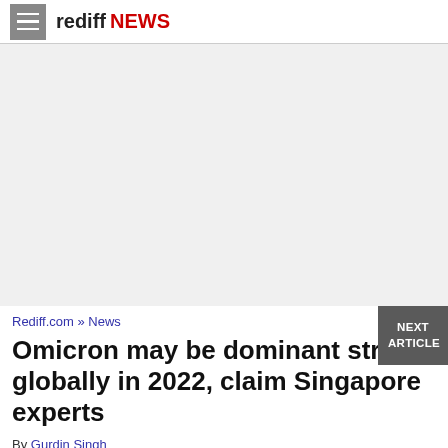rediff NEWS
[Figure (other): Advertisement placeholder area with light gray background]
NEXT ARTICLE
Rediff.com » News
Omicron may be dominant strain globally in 2022, claim Singapore experts
By Gurdin Singh